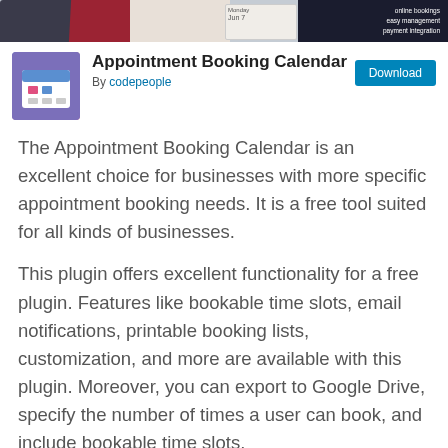[Figure (screenshot): Banner image showing appointment booking calendar interface with dark background text: online bookings, easy management, payment integration]
Appointment Booking Calendar
By codepeople
The Appointment Booking Calendar is an excellent choice for businesses with more specific appointment booking needs. It is a free tool suited for all kinds of businesses.
This plugin offers excellent functionality for a free plugin. Features like bookable time slots, email notifications, printable booking lists, customization, and more are available with this plugin. Moreover, you can export to Google Drive, specify the number of times a user can book, and include bookable time slots.